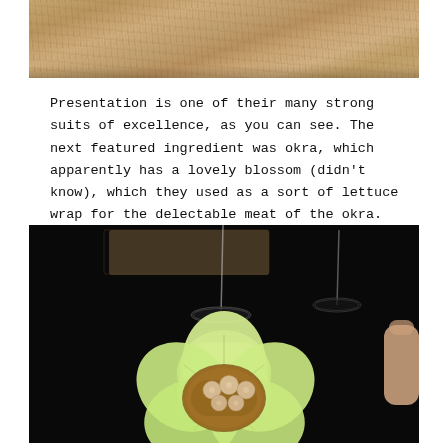[Figure (photo): Top portion of a textured sandy/stone surface photo, cropped at the bottom]
Presentation is one of their many strong suits of excellence, as you can see. The next featured ingredient was okra, which apparently has a lovely blossom (didn't know), which they used as a sort of lettuce wrap for the delectable meat of the okra.
[Figure (photo): Close-up photo of an okra blossom (pale yellow-green flower) filled with okra meat and round seeds/pearls, held by a hand. Dark background with wine glasses visible behind.]